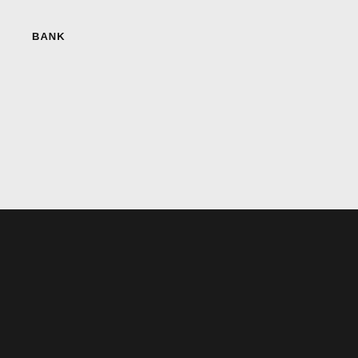BANK
We use cookies on our website to give you the most relevant experience by remembering your preferences and repeat visits. By clicking “Accept All”, you consent to the use of ALL the cookies. However, you may visit “Cookie Settings” to provide a controlled consent.
Cookie Settings  Accept All